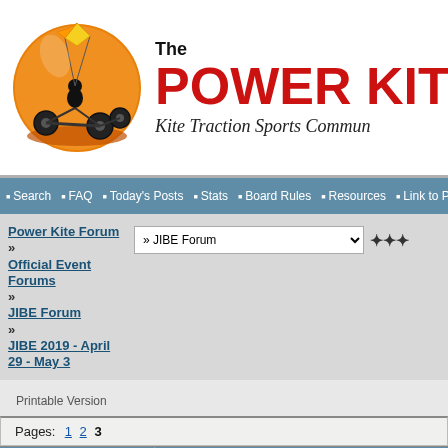[Figure (logo): The Power Kite Forum logo with orange circle, kite buggy silhouette, and tagline 'Kite Traction Sports Community']
Search | FAQ | Today's Posts | Stats | Board Rules | Resources | Link to PK
Power Kite Forum » Official Event Forums » JIBE Forum » JIBE 2019 - April 29 - May 3
» JIBE Forum (dropdown)
Printable Version
Pages: 1 2 3
| Author: | Subject: JIBE 2019 - April 29 - May 3 |
| --- | --- |
|  |  |